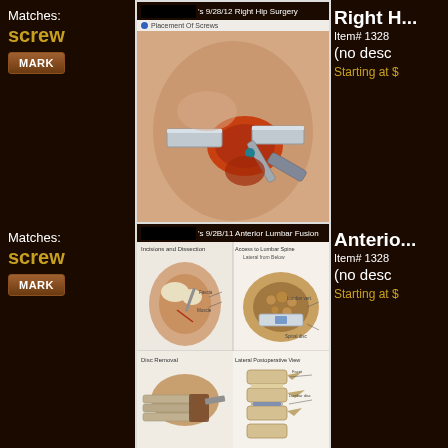Matches:
screw
MARK
[Figure (illustration): Medical illustration of right hip surgery showing screw placement. Title bar reads '[REDACTED]'s 9/28/12 Right Hip Surgery'. Subtitle: 'Placement Of Screws'. Shows surgical view of hip with retractors and screw insertion tool. Caption text at bottom.]
Right H...
Item# 1328
(no desc
Starting at $
Matches:
screw
MARK
[Figure (illustration): Medical illustration of Anterior Lumbar Fusion dated 9/28/11. Title bar reads '[REDACTED]'s 9/2B/11 Anterior Lumbar Fusion'. Shows four panels: Incisions and Dissection, Access to Lumbar Spine - Lateral from Below, Disc Removal, and Lateral Postoperative View.]
Anterio...
Item# 1328
(no desc
Starting at $